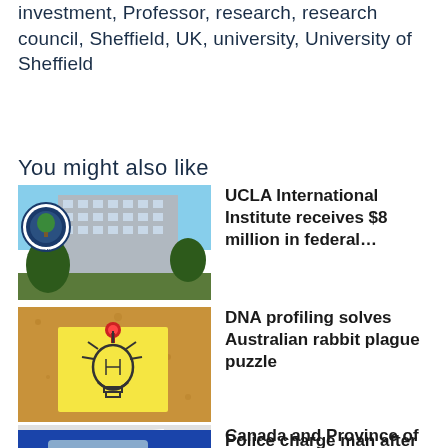investment, Professor, research, research council, Sheffield, UK, university, University of Sheffield
You might also like
[Figure (photo): UCLA building exterior with circular seal/logo overlay and trees]
UCLA International Institute receives $8 million in federal…
[Figure (photo): Cork bulletin board with yellow sticky note showing a light bulb drawing and a red pin]
DNA profiling solves Australian rabbit plague puzzle
[Figure (photo): Documents and reading glasses on a desk]
Canada and Province of British Columbia support 14 fisheries…
[Figure (photo): Blue and white police car with Police text visible]
Police charge man after pursuit in Maitland